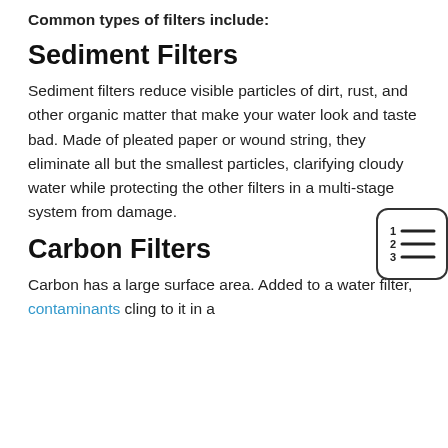Common types of filters include:
Sediment Filters
Sediment filters reduce visible particles of dirt, rust, and other organic matter that make your water look and taste bad. Made of pleated paper or wound string, they eliminate all but the smallest particles, clarifying cloudy water while protecting the other filters in a multi-stage system from damage.
[Figure (illustration): Icon of a numbered list (1, 2, 3) with horizontal lines, inside a rounded rectangle border]
Carbon Filters
Carbon has a large surface area. Added to a water filter, contaminants cling to it in a